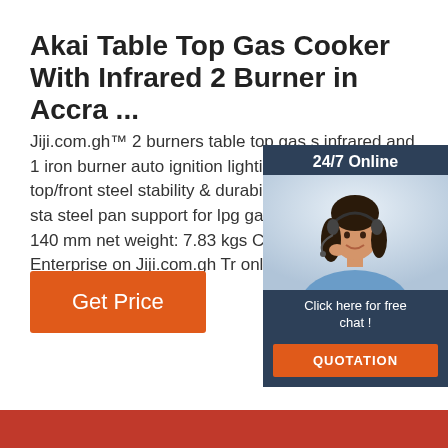Akai Table Top Gas Cooker With Infrared 2 Burner in Accra ...
Jiji.com.gh™ 2 burners table top gas s infrared and 1 iron burner auto ignition lighting tempered glass top/front steel stability & durability enamel coated sta steel pan support for lpg gas use dime x 455 x 140 mm net weight: 7.83 kgs with Babs Enterprise on Jiji.com.gh Tr online classified in Accra Metropolitan
[Figure (other): Customer service widget with a woman wearing a headset, dark blue background, '24/7 Online' header, 'Click here for free chat!' text, and orange QUOTATION button]
Get Price
[Figure (logo): TOP logo with orange dots arranged in triangle pattern above the letters TOP in orange]